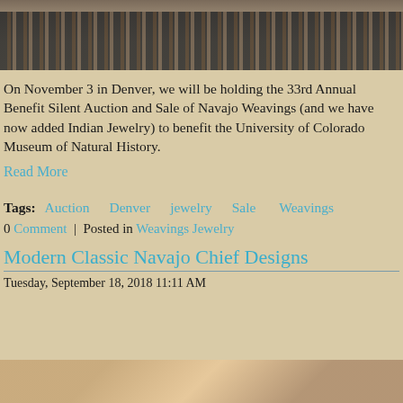[Figure (photo): Top portion of a photo showing Navajo weavings with dark geometric patterns, partially visible at the top of the page.]
On November 3 in Denver, we will be holding the 33rd Annual Benefit Silent Auction and Sale of Navajo Weavings (and we have now added Indian Jewelry) to benefit the University of Colorado Museum of Natural History.
Read More
Tags: Auction  Denver  jewelry  Sale  Weavings
0 Comment | Posted in Weavings Jewelry
Modern Classic Navajo Chief Designs
Tuesday, September 18, 2018 11:11 AM
[Figure (photo): Bottom portion of a photo showing a person browsing items, partially visible at the bottom of the page.]